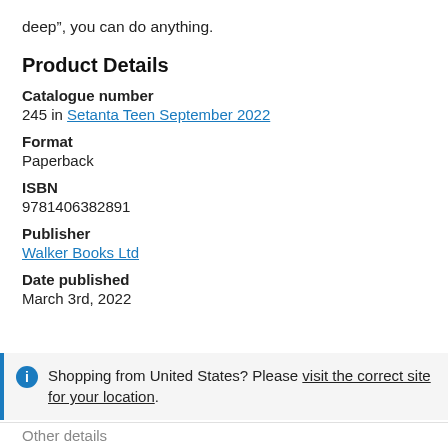deep”, you can do anything.
Product Details
Catalogue number
245 in Setanta Teen September 2022
Format
Paperback
ISBN
9781406382891
Publisher
Walker Books Ltd
Date published
March 3rd, 2022
Shopping from United States? Please visit the correct site for your location.
Other details